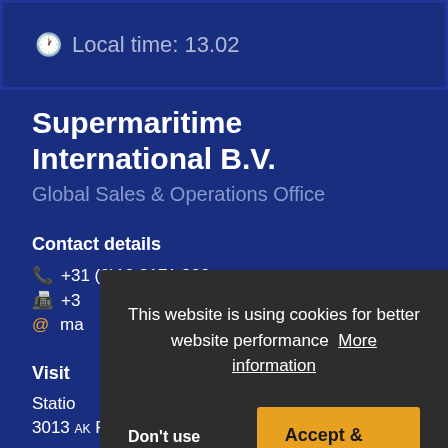Local time: 13.02
Supermaritime International B.V.
Global Sales & Operations Office
Contact details
+31 (0)10 2171 900
+3...
ma...
Visit...
Statio...
3013 AK Rotterdam
This website is using cookies for better website performance  More information
Don't use cookies
Accept & Close